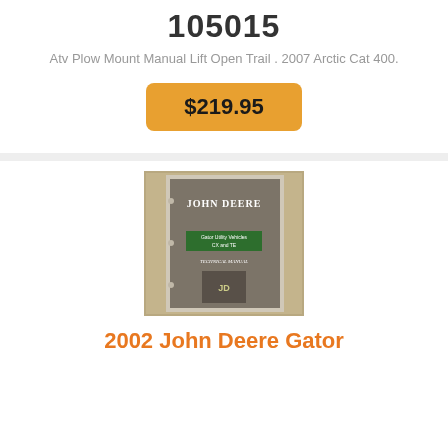105015
Atv Plow Mount Manual Lift Open Trail . 2007 Arctic Cat 400.
$219.95
[Figure (photo): Photo of a John Deere Technical Manual booklet lying on a wooden surface]
2002 John Deere Gator